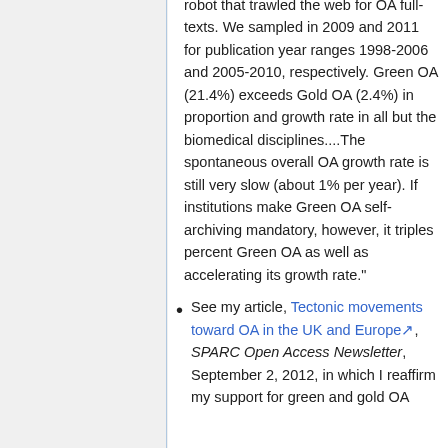robot that trawled the web for OA full-texts. We sampled in 2009 and 2011 for publication year ranges 1998-2006 and 2005-2010, respectively. Green OA (21.4%) exceeds Gold OA (2.4%) in proportion and growth rate in all but the biomedical disciplines....The spontaneous overall OA growth rate is still very slow (about 1% per year). If institutions make Green OA self-archiving mandatory, however, it triples percent Green OA as well as accelerating its growth rate."
See my article, Tectonic movements toward OA in the UK and Europe, SPARC Open Access Newsletter, September 2, 2012, in which I reaffirm my support for green and gold OA